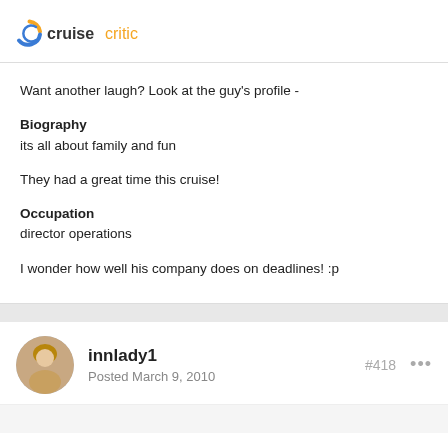cruisecritic
Want another laugh? Look at the guy's profile -
Biography
its all about family and fun
They had a great time this cruise!
Occupation
director operations
I wonder how well his company does on deadlines! :p
innlady1
Posted March 9, 2010
#418